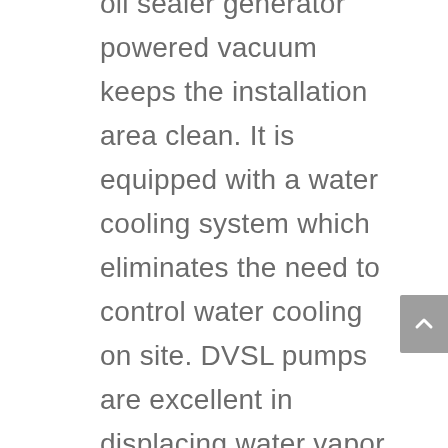oil sealer generator powered vacuum keeps the installation area clean. It is equipped with a water cooling system which eliminates the need to control water cooling on site. DVSL pumps are excellent in displacing water vapor. Low power variance between atmospheric pressure and maximum pressure allows repeated, continuous operation between atmospheric pressure and vacuum. These pumps use up less energy and can lead to savings in the vacuum area. 24-Hour operation secured.